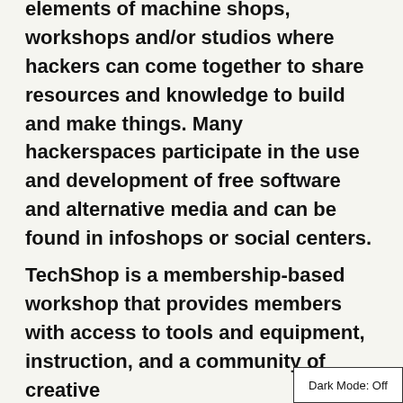elements of machine shops, workshops and/or studios where hackers can come together to share resources and knowledge to build and make things. Many hackerspaces participate in the use and development of free software and alternative media and can be found in infoshops or social centers.
TechShop is a membership-based workshop that provides members with access to tools and equipment, instruction, and a community of creative